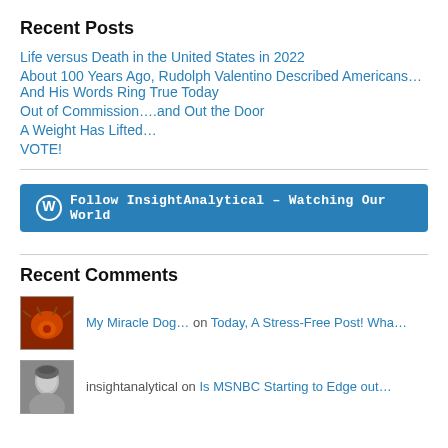Recent Posts
Life versus Death in the United States in 2022
About 100 Years Ago, Rudolph Valentino Described Americans…And His Words Ring True Today
Out of Commission….and Out the Door
A Weight Has Lifted…
VOTE!
[Figure (other): Follow InsightAnalytical – Watching Our World button (WordPress follow button)]
Recent Comments
My Miracle Dog… on Today, A Stress-Free Post! Wha…
insightanalytical on Is MSNBC Starting to Edge out…